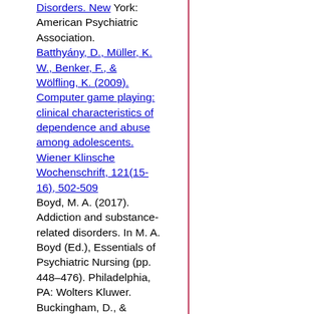Disorders. New York: American Psychiatric Association.
Batthyány, D., Müller, K. W., Benker, F., & Wölfling, K. (2009). Computer game playing: clinical characteristics of dependence and abuse among adolescents. Wiener Klinsche Wochenschrift, 121(15-16), 502-509
Boyd, M. A. (2017). Addiction and substance-related disorders. In M. A. Boyd (Ed.), Essentials of Psychiatric Nursing (pp. 448–476). Philadelphia, PA: Wolters Kluwer.
Buckingham, D., & Willett, R. (Eds.). (2013). Digital generations: Children, young people, and the new media. London: